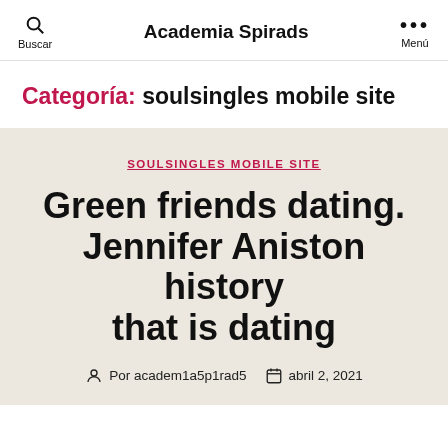Academia Spirads
Categoría: soulsingles mobile site
SOULSINGLES MOBILE SITE
Green friends dating. Jennifer Aniston history that is dating
Por academ1a5p1rad5   abril 2, 2021